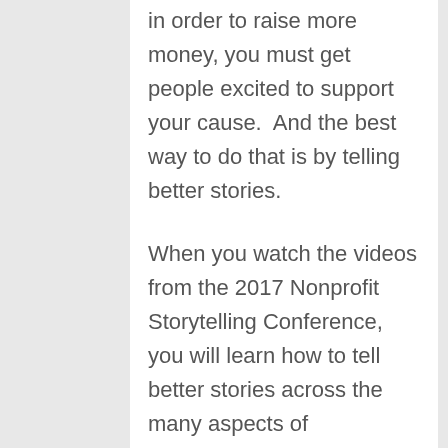in order to raise more money, you must get people excited to support your cause.  And the best way to do that is by telling better stories.
When you watch the videos from the 2017 Nonprofit Storytelling Conference, you will learn how to tell better stories across the many aspects of fundraising and donor communications.
You'll learn how to tap into your donor's emotions.
You'll learn about digital media storytelling, major donor storytelling, visual storytelling, and telling stories at special events.  You'll learn the basics of